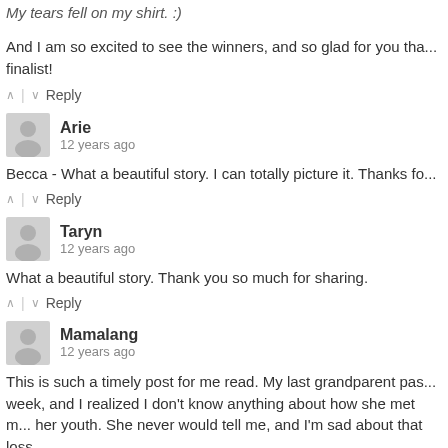My tears fell on my shirt. :)
And I am so excited to see the winners, and so glad for you tha... finalist!
^ | v Reply
Arie
12 years ago
Becca - What a beautiful story. I can totally picture it. Thanks fo...
^ | v Reply
Taryn
12 years ago
What a beautiful story. Thank you so much for sharing.
^ | v Reply
Mamalang
12 years ago
This is such a timely post for me read. My last grandparent pas... week, and I realized I don't know anything about how she met m... her youth. She never would tell me, and I'm sad about that loss...
And that song has always been one of my favorites. I'm dialing...